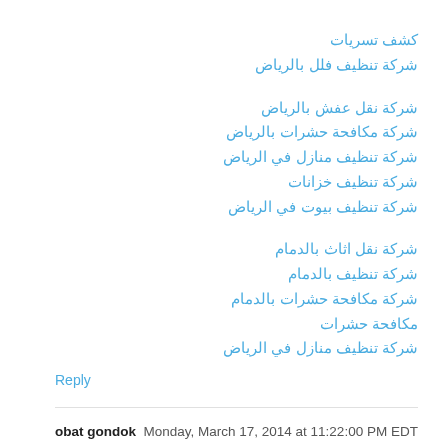كشف تسريات
شركة تنظيف فلل بالرياض
شركة نقل عفش بالرياض
شركة مكافحة حشرات بالرياض
شركة تنظيف منازل في الرياض
شركة تنظيف خزانات
شركة تنظيف بيوت في الرياض
شركة نقل اثاث بالدمام
شركة تنظيف بالدمام
شركة مكافحة حشرات بالدمام
مكافحة حشرات
شركة تنظيف منازل في الرياض
Reply
obat gondok  Monday, March 17, 2014 at 11:22:00 PM EDT
it's a great post and si like your mind in this post thanks for